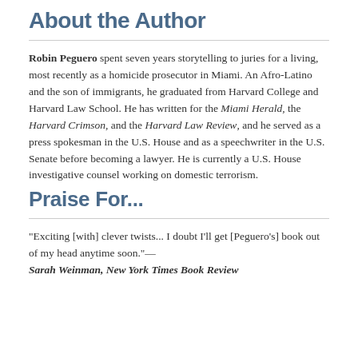About the Author
Robin Peguero spent seven years storytelling to juries for a living, most recently as a homicide prosecutor in Miami. An Afro-Latino and the son of immigrants, he graduated from Harvard College and Harvard Law School. He has written for the Miami Herald, the Harvard Crimson, and the Harvard Law Review, and he served as a press spokesman in the U.S. House and as a speechwriter in the U.S. Senate before becoming a lawyer. He is currently a U.S. House investigative counsel working on domestic terrorism.
Praise For...
"Exciting [with] clever twists... I doubt I'll get [Peguero's] book out of my head anytime soon."—Sarah Weinman, New York Times Book Review